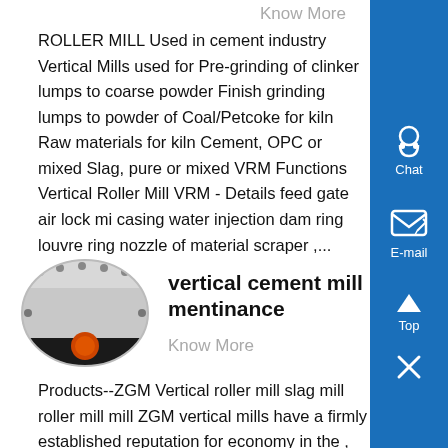Know More
ROLLER MILL Used in cement industry Vertical Mills used for Pre-grinding of clinker lumps to coarse powder Finish grinding lumps to powder of Coal/Petcoke for kiln Raw materials for kiln Cement, OPC or mixed Slag, pure or mixed VRM Functions Vertical Roller Mill VRM - Details feed gate air lock mi casing water injection dam ring louvre ring nozzle of material scraper ,...
[Figure (photo): Oval/elliptical shaped photo of industrial mill component showing metal housing with bolted flanges and an orange circular opening]
vertical cement mill mentinance
Know More
Products--ZGM Vertical roller mill slag mill roller mill mill ZGM vertical mills have a firmly established reputation for economy in the , fuel to industrial furnaces in steel works, to rotary cement kilns in